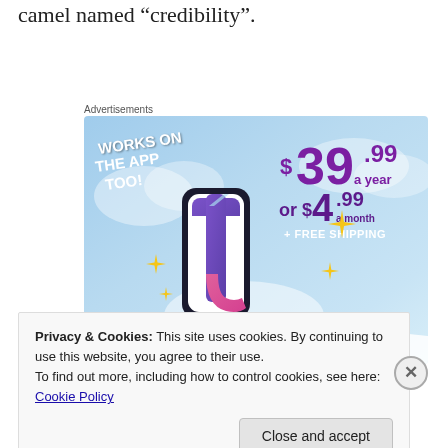camel named “credibility”.
Advertisements
[Figure (infographic): Tumblr advertisement showing a stylized 't' logo with sparkles on a blue cloudy background. Text reads 'WORKS ON THE APP TOO!' and pricing '$39.99 a year or $4.99 a month + FREE SHIPPING']
Privacy & Cookies: This site uses cookies. By continuing to use this website, you agree to their use.
To find out more, including how to control cookies, see here: Cookie Policy